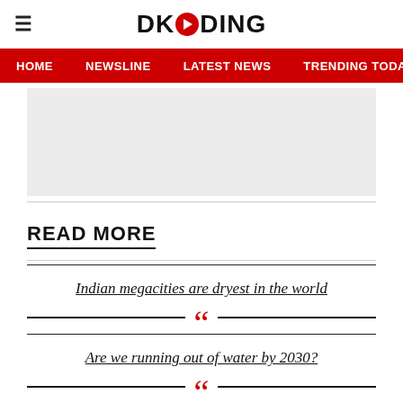DKODING
HOME  NEWSLINE  LATEST NEWS  TRENDING TODAY  ENT
[Figure (other): Advertisement placeholder box (light grey)]
READ MORE
Indian megacities are dryest in the world
Are we running out of water by 2030?